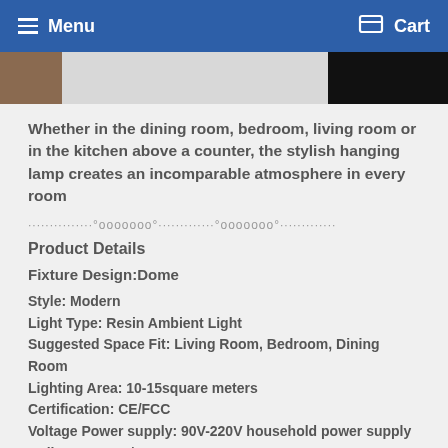Menu  Cart
Whether in the dining room, bedroom, living room or in the kitchen above a counter, the stylish hanging lamp creates an incomparable atmosphere in every room
···············°ooooooo°·············°ooooooo°·············
Product Details
Fixture Design:Dome
Style: Modern
Light Type: Resin Ambient Light
Suggested Space Fit: Living Room, Bedroom, Dining Room
Lighting Area: 10-15square meters
Certification: CE/FCC
Voltage Power supply: 90V-220V household power supply
Bulb Base: E26/E27
Bulb Included or Not: Bulb Included